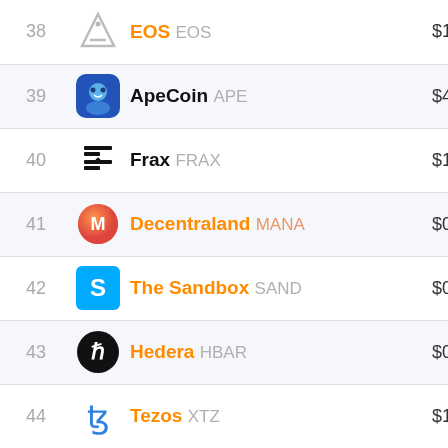| Rank | Coin | Price |
| --- | --- | --- |
| 38 | EOS EOS | $1 |
| 39 | ApeCoin APE | $4 |
| 40 | Frax FRAX | $1 |
| 41 | Decentraland MANA | $0 |
| 42 | The Sandbox SAND | $0 |
| 43 | Hedera HBAR | $0 |
| 44 | Tezos XTZ | $1 |
| 45 | Axie Infi... AXS | $14 |